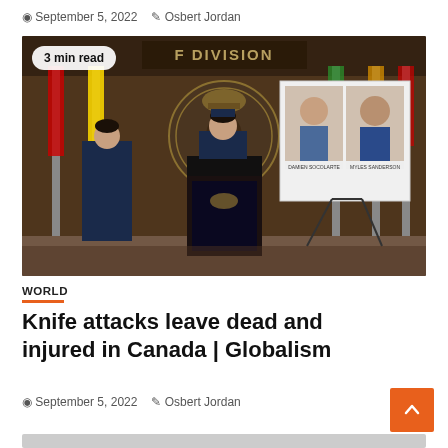September 5, 2022  Osbert Jordan
[Figure (photo): Police press conference with RCMP officers at podium showing suspect photos on a board. 'F DIVISION' sign visible behind podium. Badge reads '3 min read'.]
WORLD
Knife attacks leave dead and injured in Canada | Globalism
September 5, 2022  Osbert Jordan